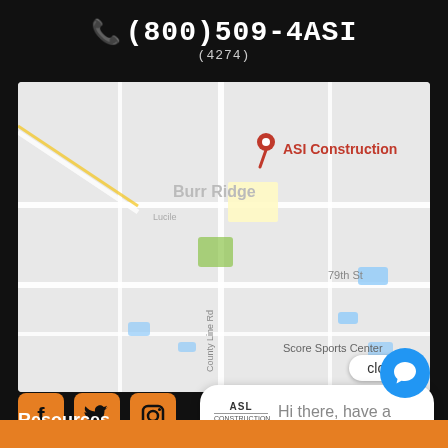📞(800)509-4ASI (4274)
[Figure (map): Google Maps screenshot showing ASI Construction location near Burr Ridge, IL with map pin marker. Streets visible include 79th St, County Line Rd. Score Sports Center labeled.]
close
[Figure (other): Social media icons: Facebook (f), Twitter (bird), and a third partially visible orange icon]
[Figure (other): Chat bubble popup with ASI Construction logo and text: Hi there, have a question? Text us here.]
Resources
[Figure (other): Blue circular chat widget button with speech bubble icon in bottom right corner]